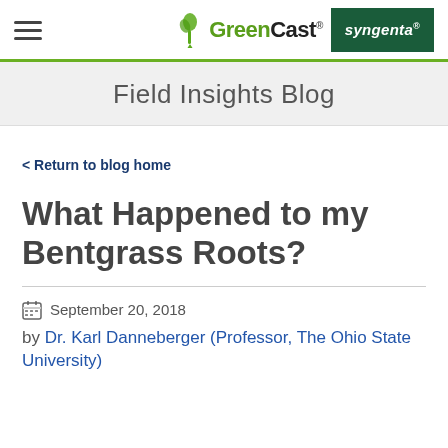GreenCast | syngenta
Field Insights Blog
< Return to blog home
What Happened to my Bentgrass Roots?
September 20, 2018
by Dr. Karl Danneberger (Professor, The Ohio State University)